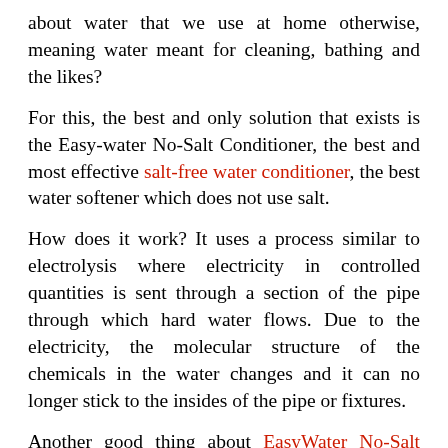about water that we use at home otherwise, meaning water meant for cleaning, bathing and the likes?
For this, the best and only solution that exists is the Easy-water No-Salt Conditioner, the best and most effective salt-free water conditioner, the best water softener which does not use salt.
How does it work? It uses a process similar to electrolysis where electricity in controlled quantities is sent through a section of the pipe through which hard water flows. Due to the electricity, the molecular structure of the chemicals in the water changes and it can no longer stick to the insides of the pipe or fixtures.
Another good thing about EasyWater No-Salt Conditioner is that it does not need much maintenance other than once in a while checking that it works. Plus, it does not use water for back-flushing the way salt-based water-conditioners did. In fact, the latter used copious quantities of water just for flushing! What you then had was salt which went right back into the lakes from which